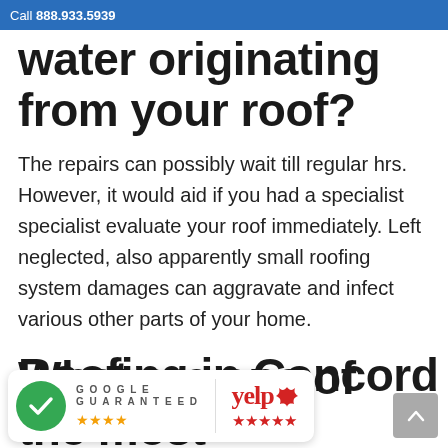Call 888.933.5939
water originating from your roof?
The repairs can possibly wait till regular hrs. However, it would aid if you had a specialist specialist evaluate your roof immediately. Left neglected, also apparently small roofing system damages can aggravate and infect various other parts of your home.
What are one of the most
[Figure (logo): Google Guaranteed badge with green circle checkmark, four orange stars, and Yelp logo with five red stars]
Roofing in Concord issues